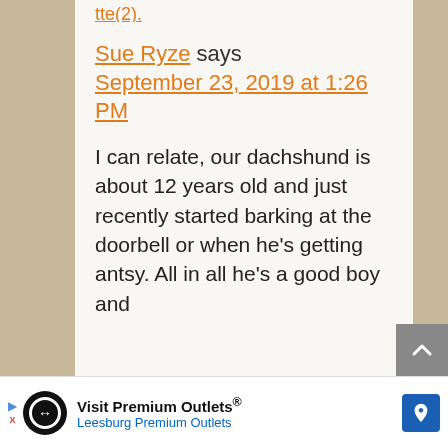tte(2).
Sue Ryze says September 23, 2019 at 1:26 PM
I can relate, our dachshund is about 12 years old and just recently started barking at the doorbell or when he's getting antsy. All in all he's a good boy and
[Figure (screenshot): Advertisement bar at the bottom: Visit Premium Outlets® Leesburg Premium Outlets]
Visit Premium Outlets® Leesburg Premium Outlets